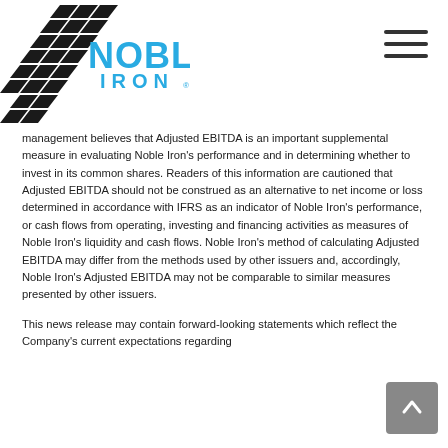[Figure (logo): Noble Iron logo with stylized black geometric pattern and blue text reading NOBLE IRON]
management believes that Adjusted EBITDA is an important supplemental measure in evaluating Noble Iron's performance and in determining whether to invest in its common shares. Readers of this information are cautioned that Adjusted EBITDA should not be construed as an alternative to net income or loss determined in accordance with IFRS as an indicator of Noble Iron's performance, or cash flows from operating, investing and financing activities as measures of Noble Iron's liquidity and cash flows. Noble Iron's method of calculating Adjusted EBITDA may differ from the methods used by other issuers and, accordingly, Noble Iron's Adjusted EBITDA may not be comparable to similar measures presented by other issuers.
This news release may contain forward-looking statements which reflect the Company's current expectations regarding